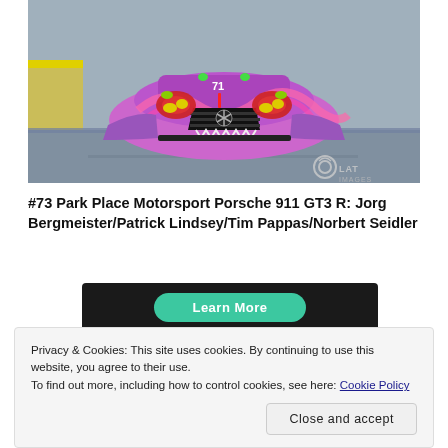[Figure (photo): Front-facing view of a racing car with pink/purple psychedelic livery featuring monster face design with yellow headlights and red eye details, Mercedes-Benz GT3 race car on a race track. LAT IMAGES watermark in bottom right.]
#73 Park Place Motorsport Porsche 911 GT3 R: Jorg Bergmeister/Patrick Lindsey/Tim Pappas/Norbert Seidler
[Figure (screenshot): Dark banner with a green 'Learn More' button, appears to be an advertisement.]
Privacy & Cookies: This site uses cookies. By continuing to use this website, you agree to their use.
To find out more, including how to control cookies, see here: Cookie Policy